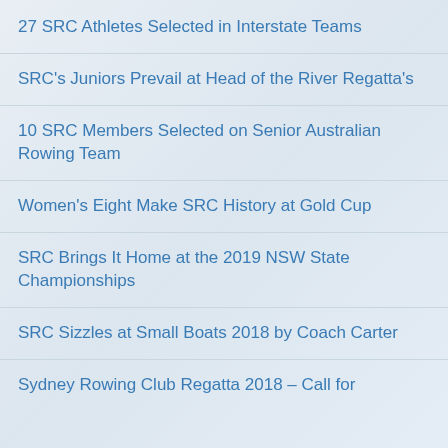27 SRC Athletes Selected in Interstate Teams
SRC's Juniors Prevail at Head of the River Regatta's
10 SRC Members Selected on Senior Australian Rowing Team
Women's Eight Make SRC History at Gold Cup
SRC Brings It Home at the 2019 NSW State Championships
SRC Sizzles at Small Boats 2018 by Coach Carter
Sydney Rowing Club Regatta 2018 – Call for